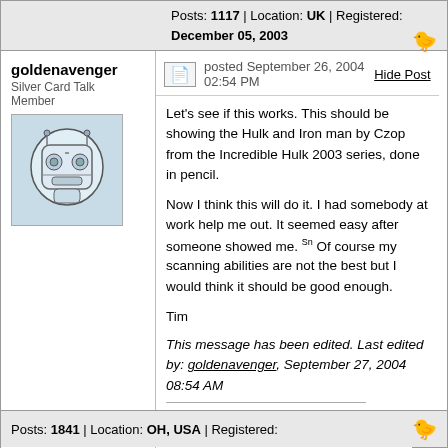Posts: 1117 | Location: UK | Registered: December 05, 2003
goldenavenger
Silver Card Talk Member
posted September 26, 2004 02:54 PM
Let's see if this works. This should be showing the Hulk and Iron man by Czop from the Incredible Hulk 2003 series, done in pencil.
Now I think this will do it. I had somebody at work help me out. It seemed easy after someone showed me. Sn Of course my scanning abilities are not the best but I would think it should be good enough.
Tim
This message has been edited. Last edited by: goldenavenger, September 27, 2004 08:54 AM
I'm looking for colored "Robots the Movie" sketch cards by Inkworks.
http://www.comicartfans.com/Ga...etail.asp?GCat=25744
Posts: 1841 | Location: OH, USA | Registered: